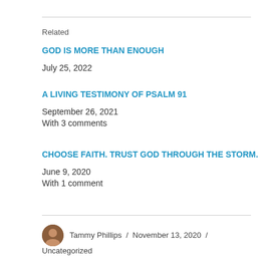Related
GOD IS MORE THAN ENOUGH
July 25, 2022
A LIVING TESTIMONY OF PSALM 91
September 26, 2021
With 3 comments
CHOOSE FAITH. TRUST GOD THROUGH THE STORM.
June 9, 2020
With 1 comment
Tammy Phillips / November 13, 2020 / Uncategorized